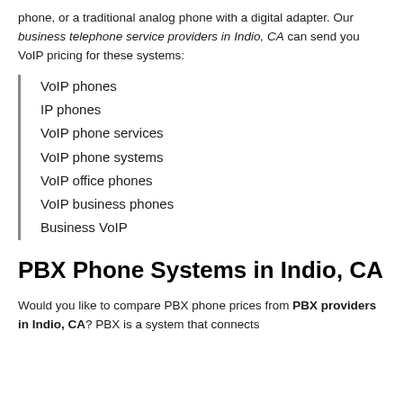phone, or a traditional analog phone with a digital adapter. Our business telephone service providers in Indio, CA can send you VoIP pricing for these systems:
VoIP phones
IP phones
VoIP phone services
VoIP phone systems
VoIP office phones
VoIP business phones
Business VoIP
PBX Phone Systems in Indio, CA
Would you like to compare PBX phone prices from PBX providers in Indio, CA? PBX is a system that connects